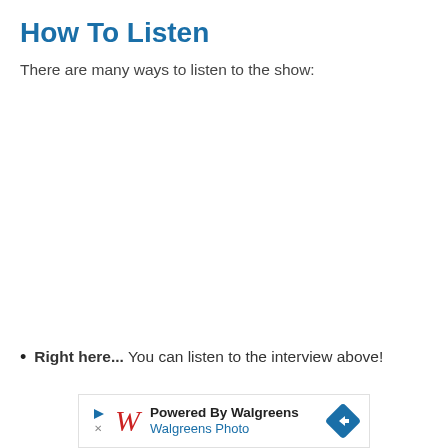How To Listen
There are many ways to listen to the show:
Right here... You can listen to the interview above!
[Figure (other): Advertisement banner: Powered By Walgreens / Walgreens Photo with Walgreens W logo and blue diamond navigation icon]